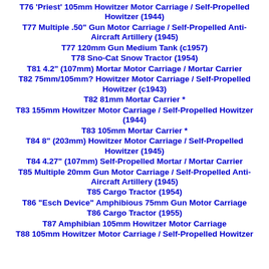T76 'Priest' 105mm Howitzer Motor Carriage / Self-Propelled Howitzer (1944)
T77 Multiple .50" Gun Motor Carriage / Self-Propelled Anti-Aircraft Artillery (1945)
T77 120mm Gun Medium Tank (c1957)
T78 Sno-Cat Snow Tractor (1954)
T81 4.2" (107mm) Mortar Motor Carriage / Mortar Carrier
T82 75mm/105mm? Howitzer Motor Carriage / Self-Propelled Howitzer (c1943)
T82 81mm Mortar Carrier *
T83 155mm Howitzer Motor Carriage / Self-Propelled Howitzer (1944)
T83 105mm Mortar Carrier *
T84 8" (203mm) Howitzer Motor Carriage / Self-Propelled Howitzer (1945)
T84 4.27" (107mm) Self-Propelled Mortar / Mortar Carrier
T85 Multiple 20mm Gun Motor Carriage / Self-Propelled Anti-Aircraft Artillery (1945)
T85 Cargo Tractor (1954)
T86 "Esch Device" Amphibious 75mm Gun Motor Carriage
T86 Cargo Tractor (1955)
T87 Amphibian 105mm Howitzer Motor Carriage
T88 105mm Howitzer Motor Carriage / Self-Propelled Howitzer